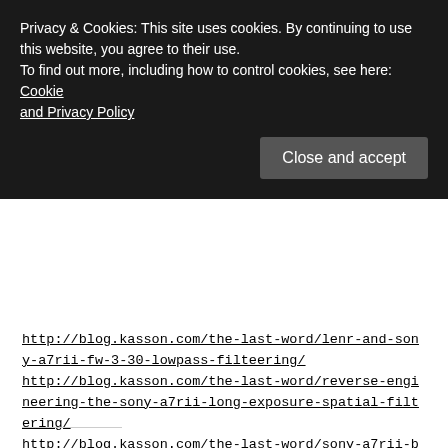Privacy & Cookies: This site uses cookies. By continuing to use this website, you agree to their use.
To find out more, including how to control cookies, see here: Cookie and Privacy Policy
Close and accept
http://blog.kasson.com/the-last-word/lenr-and-sony-a7rii-fw-3-30-lowpass-filteering/
http://blog.kasson.com/the-last-word/reverse-engineering-the-sony-a7rii-long-exposure-spatial-filtering/
http://blog.kasson.com/the-last-word/sony-a7rii-bulb-spatial-filtering/
Jim Kasson has written about a possible workaround on the a7RII by using “Continuous High or Continuous Low” modes.